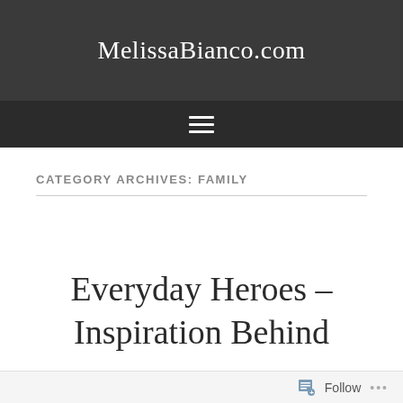MelissaBianco.com
CATEGORY ARCHIVES: FAMILY
Everyday Heroes – Inspiration Behind
Follow